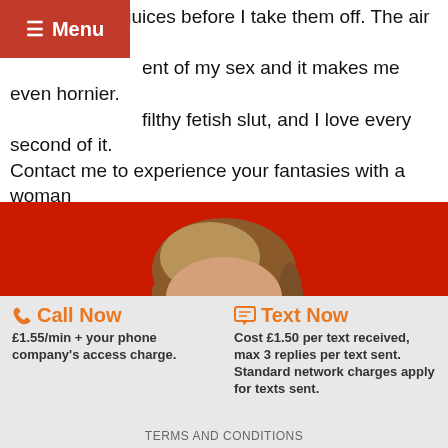Menu
soaked in my juices before I take them off. The air fills ent of my sex and it makes me even hornier. filthy fetish slut, and I love every second of it. Contact me to experience your fantasies with a woman that knows exactly what she's doing. When you've been around as long as I have, you learn secret tricks that those younger bitches could never compete with. Try me and find out!
[Figure (photo): Woman with brown and blonde hair against a red background, looking at camera with a slight smile]
Call Now
£1.55/min + your phone company's access charge.
Text Now
Cost £1.50 per text received, max 3 replies per text sent. Standard network charges apply for texts sent.
TERMS AND CONDITIONS